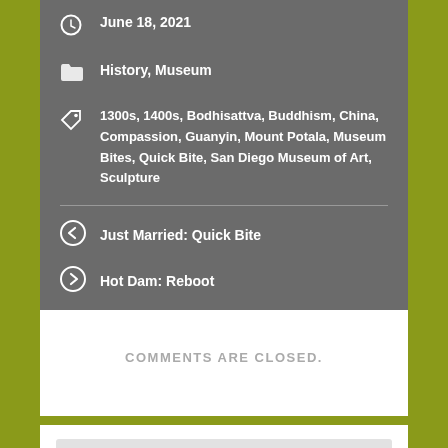June 18, 2021
History, Museum
1300s, 1400s, Bodhisattva, Buddhism, China, Compassion, Guanyin, Mount Potala, Museum Bites, Quick Bite, San Diego Museum of Art, Sculpture
Just Married: Quick Bite
Hot Dam: Reboot
COMMENTS ARE CLOSED.
Search ...